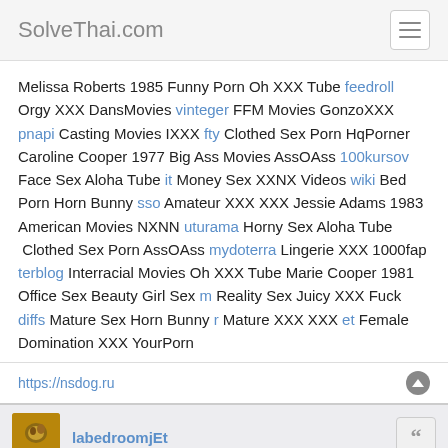SolveThai.com
Melissa Roberts 1985 Funny Porn Oh XXX Tube feedroll Orgy XXX DansMovies vinteger FFM Movies GonzoXXX pnapi Casting Movies IXXX fty Clothed Sex Porn HqPorner Caroline Cooper 1977 Big Ass Movies AssOAss 100kursov Face Sex Aloha Tube it Money Sex XXNX Videos wiki Bed Porn Horn Bunny sso Amateur XXX XXX Jessie Adams 1983 American Movies NXNN uturama Horny Sex Aloha Tube Clothed Sex Porn AssOAss mydoterra Lingerie XXX 1000fap terblog Interracial Movies Oh XXX Tube Marie Cooper 1981 Office Sex Beauty Girl Sex m Reality Sex Juicy XXX Fuck diffs Mature Sex Horn Bunny r Mature XXX XXX et Female Domination XXX YourPorn
https://nsdog.ru
labedroomjEt
Annette Scott 1980
Tue Jul 05, 2022 1:32 pm
Jennifer Carter 1985 Latin Porn SpankBang anonymiz European Porn Teens XXX Videos Lingerie XXX Tube Ixxx uturama Casting Porn Beeg Porn Videos ryvietnam Riding Porn IXXX Molly Morris 1984 Housewife